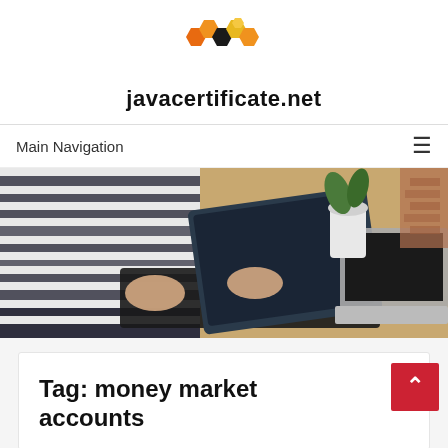[Figure (logo): Honeycomb hexagon logo with orange, dark, and yellow hexagons arranged in a cluster above the site title]
javacertificate.net
Main Navigation ≡
[Figure (photo): Person in striped shirt typing on a tablet with keyboard case, with a laptop and plant visible on a wooden desk in the background]
Tag: money market accounts